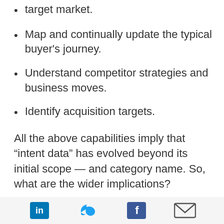target market.
Map and continually update the typical buyer's journey.
Understand competitor strategies and business moves.
Identify acquisition targets.
All the above capabilities imply that “intent data” has evolved beyond its initial scope — and category name. So, what are the wider implications?
Related Article: 17 Intent Data Terms Every B2B Sales or Marketing Leader Should Know
[Figure (other): Social media sharing icons: LinkedIn, Twitter, Facebook, Email]